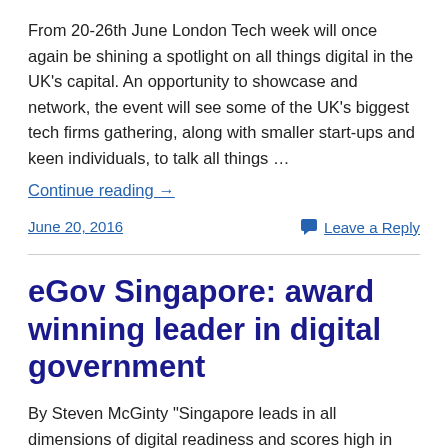From 20-26th June London Tech week will once again be shining a spotlight on all things digital in the UK's capital. An opportunity to showcase and network, the event will see some of the UK's biggest tech firms gathering, along with smaller start-ups and keen individuals, to talk all things …
Continue reading →
June 20, 2016
Leave a Reply
eGov Singapore: award winning leader in digital government
By Steven McGinty "Singapore leads in all dimensions of digital readiness and scores high in economic competitiveness, citizen engagement as well as public sector productivity." These are the words of Ng Wee Wei…